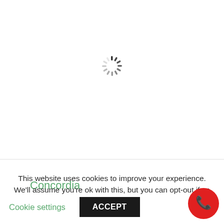[Figure (other): Loading spinner (circular animated indicator) centered near top of page]
Concordia
This website uses cookies to improve your experience. We'll assume you're ok with this, but you can opt-out if yo
Cookie settings
ACCEPT
[Figure (other): Red circular phone/call button in bottom right corner]